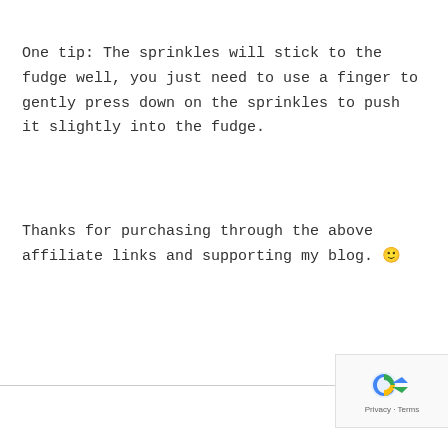One tip: The sprinkles will stick to the fudge well, you just need to use a finger to gently press down on the sprinkles to push it slightly into the fudge.
Thanks for purchasing through the above affiliate links and supporting my blog. 🙂